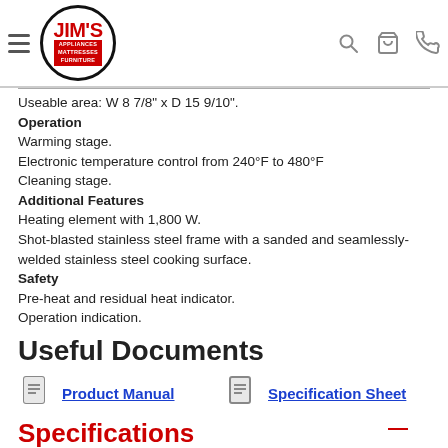Jim's Appliances Mattresses Furniture
Useable area: W 8 7/8" x D 15 9/10".
Operation
Warming stage.
Electronic temperature control from 240°F to 480°F
Cleaning stage.
Additional Features
Heating element with 1,800 W.
Shot-blasted stainless steel frame with a sanded and seamlessly-welded stainless steel cooking surface.
Safety
Pre-heat and residual heat indicator.
Operation indication.
Useful Documents
Product Manual
Specification Sheet
Specifications